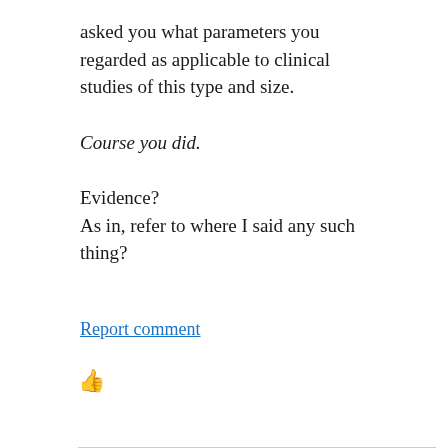asked you what parameters you regarded as applicable to clinical studies of this type and size.
Course you did.
Evidence?
As in, refer to where I said any such thing?
Report comment
[Figure (illustration): Blue thumbs up icon with the number 1]